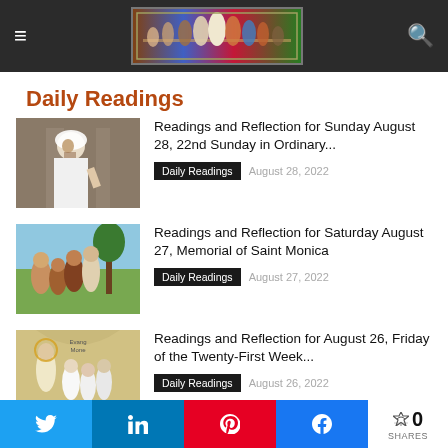Daily Readings website navigation bar with hamburger menu, Last Supper logo image, and search icon
Daily Readings
[Figure (photo): Thumbnail image of Jesus Christ in white robes]
Readings and Reflection for Sunday August 28, 22nd Sunday in Ordinary...
Daily Readings  August 28, 2022
[Figure (photo): Thumbnail image of Jesus teaching a group of people outdoors]
Readings and Reflection for Saturday August 27, Memorial of Saint Monica
Daily Readings  August 27, 2022
[Figure (photo): Thumbnail image of Saint Monica painting with women figures]
Readings and Reflection for August 26, Friday of the Twenty-First Week...
Daily Readings  August 26, 2022
Share buttons: Twitter, LinkedIn, Pinterest, Facebook. 0 SHARES